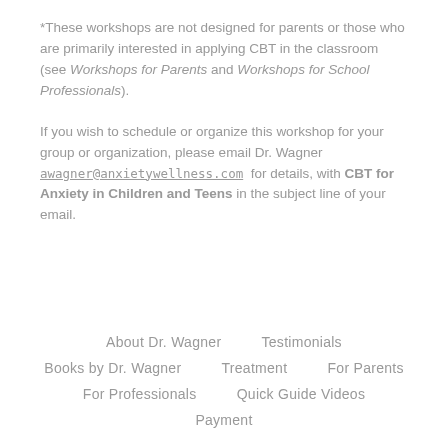*These workshops are not designed for parents or those who are primarily interested in applying CBT in the classroom (see Workshops for Parents and Workshops for School Professionals).
If you wish to schedule or organize this workshop for your group or organization, please email Dr. Wagner awagner@anxietywellness.com for details, with CBT for Anxiety in Children and Teens in the subject line of your email.
About Dr. Wagner | Testimonials | Books by Dr. Wagner | Treatment | For Parents | For Professionals | Quick Guide Videos | Payment